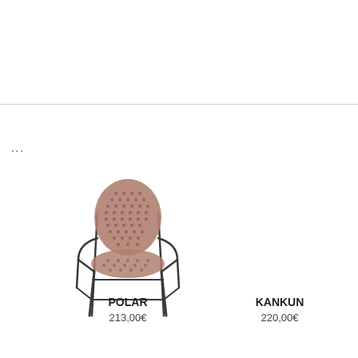...
[Figure (photo): A woven rattan-style chair with dark metal frame and armrests, viewed from the front. The seat and back are made of woven brownish-pink material.]
POLAR
213,00€
KANKUN
220,00€